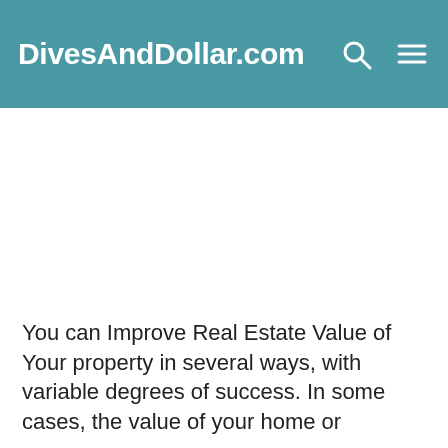DivesAndDollar.com
[Figure (other): Advertisement / blank ad placeholder area]
You can Improve Real Estate Value of Your property in several ways, with variable degrees of success. In some cases, the value of your home or